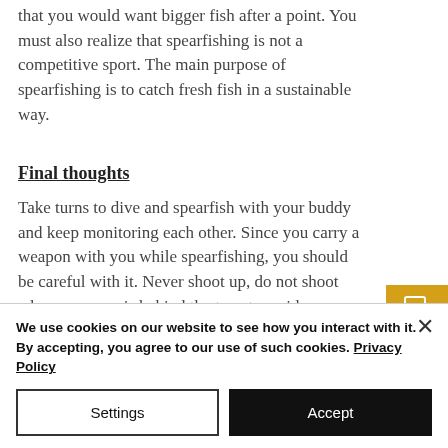that you would want bigger fish after a point. You must also realize that spearfishing is not a competitive sport. The main purpose of spearfishing is to catch fresh fish in a sustainable way.
Final thoughts
Take turns to dive and spearfish with your buddy and keep monitoring each other. Since you carry a weapon with you while spearfishing, you should be careful with it. Never shoot up, do not shoot when someone is behind the target, avoid
[Figure (other): Book Now vertical sidebar button with icon, gold/yellow background]
We use cookies on our website to see how you interact with it. By accepting, you agree to our use of such cookies. Privacy Policy
Settings
Accept